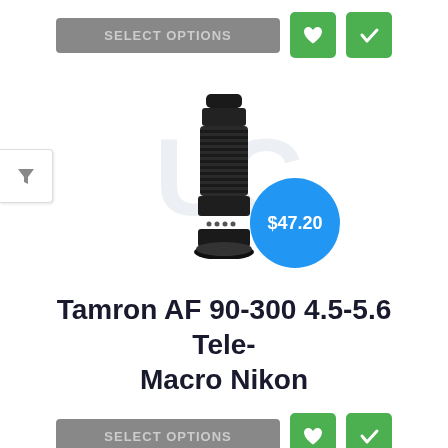[Figure (screenshot): Top action bar with SELECT OPTIONS button and two green icon buttons (heart and checkmark)]
[Figure (photo): Camera lens (Tamron AF 90-300 4.5-5.6 Tele-Macro Nikon) product photo with watermark letters and a blue price bubble showing $47.20]
Tamron AF 90-300 4.5-5.6 Tele-Macro Nikon
[Figure (screenshot): Bottom action bar with SELECT OPTIONS button and two green icon buttons (heart and checkmark)]